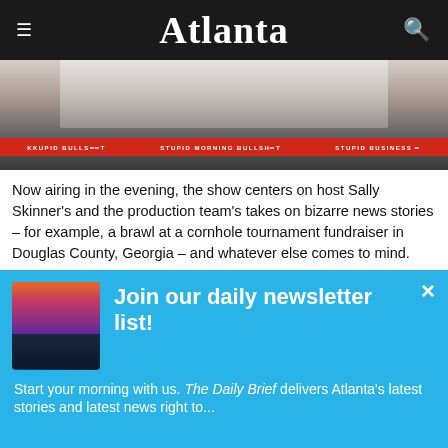Atlanta
[Figure (photo): TV show broadcast desk with red banner reading 'STUPID MORNING BULLSH*T']
Now airing in the evening, the show centers on host Sally Skinner's and the production team's takes on bizarre news stories – for example, a brawl at a cornhole tournament fundraiser in Douglas County, Georgia – and whatever else comes to mind.
[Figure (infographic): Newsletter signup popup with Atlanta skyline photo and text: Join our daily newsletter list! Start your morning with us. The Daily Brief delivers Atlanta's latest stories and latest news right to...]
[Figure (infographic): Tally app advertisement: Fast credit card payoff. Download Now button.]